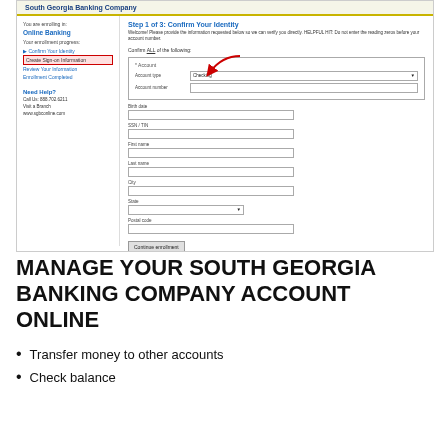[Figure (screenshot): Screenshot of South Georgia Banking Company online banking enrollment page, Step 1 of 3: Confirm Your Identity. Shows left sidebar with enrollment steps (Confirm Your Identity highlighted, Create Sign-on Information, Review Your Information, Enrollment Completed) and Need Help section. Main area shows form with Account section (Account type: Checking dropdown, Account number field), and fields for Birth date, SSN/TIN, First name, Last name, City, State, Postal code, and Continue enrollment button.]
MANAGE YOUR SOUTH GEORGIA BANKING COMPANY ACCOUNT ONLINE
Transfer money to other accounts
Check balance